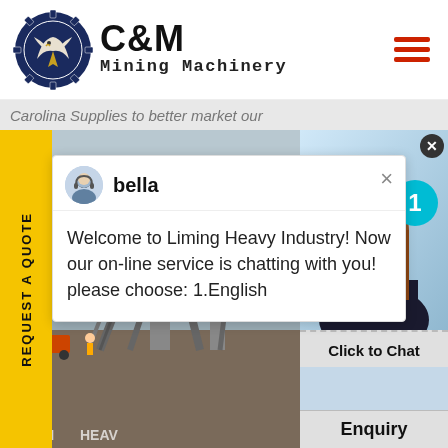[Figure (logo): C&M Mining Machinery logo with eagle in gear circle icon, company name in bold text]
Carolina Supplies to better market our
REQUEST A QUOTE
bella
Welcome to Liming Heavy Industry! Now our on-line service is chatting with you! please choose: 1.English
[Figure (photo): Industrial mining structure with cranes and conveyor belts]
[Figure (photo): Customer service woman with headset smiling, with cyan badge showing number 1]
Click to Chat
Enquiry